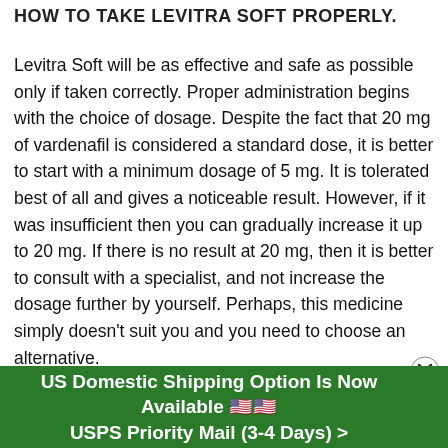HOW TO TAKE LEVITRA SOFT PROPERLY.
Levitra Soft will be as effective and safe as possible only if taken correctly. Proper administration begins with the choice of dosage. Despite the fact that 20 mg of vardenafil is considered a standard dose, it is better to start with a minimum dosage of 5 mg. It is tolerated best of all and gives a noticeable result. However, if it was insufficient then you can gradually increase it up to 20 mg. If there is no result at 20 mg, then it is better to consult with a specialist, and not increase the dosage further by yourself. Perhaps, this medicine simply doesn't suit you and you need to choose an alternative.
It isn't recommended taking more than one pill per day. Daily medication is also undesirable. At the same time, Levitra can be used both on an ongoing basis and occasionally – there is
US Domestic Shipping Option Is Now Available 🇺🇸🇺🇸 USPS Priority Mail (3-4 Days) >